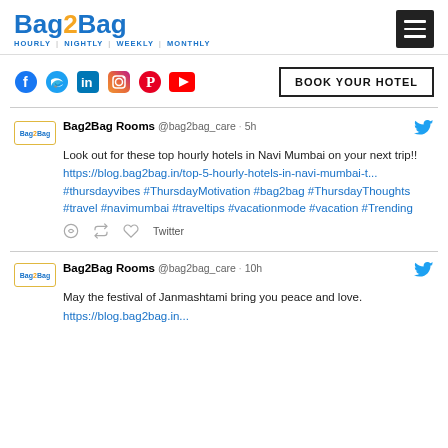Bag2Bag — HOURLY | NIGHTLY | WEEKLY | MONTHLY
[Figure (logo): Bag2Bag logo with tagline HOURLY | NIGHTLY | WEEKLY | MONTHLY and hamburger menu icon]
[Figure (infographic): Social media icons (Facebook, Twitter, LinkedIn, Instagram, Pinterest, YouTube) and BOOK YOUR HOTEL button]
Bag2Bag Rooms @bag2bag_care · 5h
Look out for these top hourly hotels in Navi Mumbai on your next trip!!
https://blog.bag2bag.in/top-5-hourly-hotels-in-navi-mumbai-t...
#thursdayvibes #ThursdayMotivation #bag2bag #ThursdayThoughts #travel #navimumbai #traveltips #vacationmode #vacation #Trending
Bag2Bag Rooms @bag2bag_care · 10h
May the festival of Janmashtami bring you peace and love.